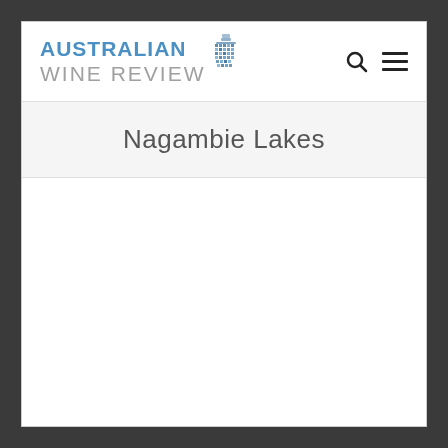AUSTRALIAN WINE REVIEW
Nagambie Lakes